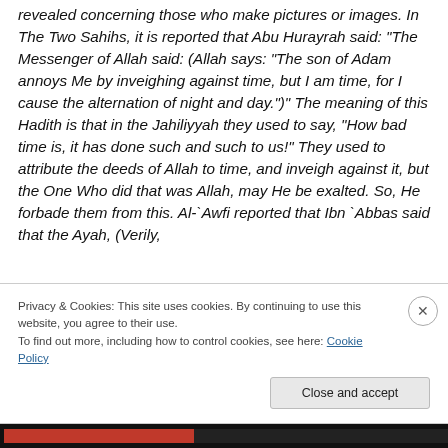revealed concerning those who make pictures or images. In The Two Sahihs, it is reported that Abu Hurayrah said: “The Messenger of Allah said: (Allah says: “The son of Adam annoys Me by inveighing against time, but I am time, for I cause the alternation of night and day.”)” The meaning of this Hadith is that in the Jahiliyyah they used to say, “How bad time is, it has done such and such to us!” They used to attribute the deeds of Allah to time, and inveigh against it, but the One Who did that was Allah, may He be exalted. So, He forbade them from this. Al-`Awfi reported that Ibn `Abbas said that the Ayah, (Verily,
Privacy & Cookies: This site uses cookies. By continuing to use this website, you agree to their use.
To find out more, including how to control cookies, see here: Cookie Policy
Close and accept